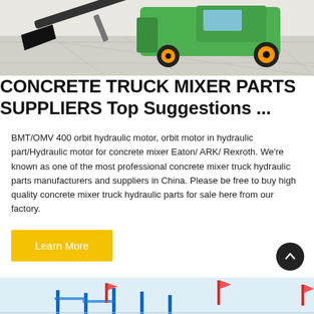[Figure (photo): Green concrete mixer truck / wheel loader with black bucket attachment on a light gray tiled floor background]
CONCRETE TRUCK MIXER PARTS SUPPLIERS Top Suggestions ...
BMT/OMV 400 orbit hydraulic motor, orbit motor in hydraulic part/Hydraulic motor for concrete mixer Eaton/ ARK/ Rexroth. We're known as one of the most professional concrete mixer truck hydraulic parts manufacturers and suppliers in China. Please be free to buy high quality concrete mixer truck hydraulic parts for sale here from our factory.
[Figure (screenshot): Bottom strip showing partial image of construction scaffolding or frames with red and blue elements on a light blue background]